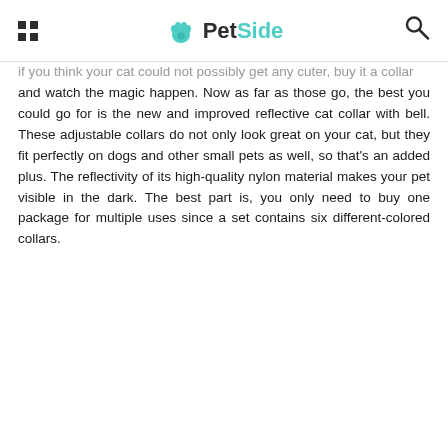PetSide
if you think your cat could not possibly get any cuter, buy it a collar and watch the magic happen. Now as far as those go, the best you could go for is the new and improved reflective cat collar with bell. These adjustable collars do not only look great on your cat, but they fit perfectly on dogs and other small pets as well, so that's an added plus. The reflectivity of its high-quality nylon material makes your pet visible in the dark. The best part is, you only need to buy one package for multiple uses since a set contains six different-colored collars.